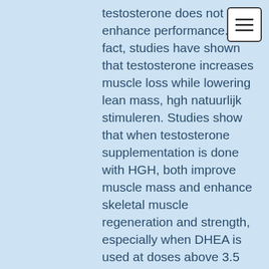testosterone does not enhance performance. In fact, studies have shown that testosterone increases muscle loss while lowering lean mass, hgh natuurlijk stimuleren. Studies show that when testosterone supplementation is done with HGH, both improve muscle mass and enhance skeletal muscle regeneration and strength, especially when DHEA is used at doses above 3.5 mg/kg body weight.
Is HGH effective in weight loss? HGH works well for patients with obesity. It has been found in numerous studies to be effective in losing weight following weight loss surgery, ultimate weight loss stack. It reduces the severity of abdominal obesity, decreases the appearance of abdominal fat (fat around the hips), increases lean mass, enhances muscle mass, and improves insulin action. HGH also acts as a form of estrogen...